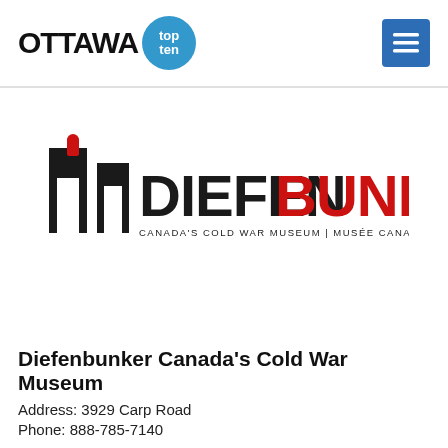OTTAWA top ten
[Figure (logo): Diefenbunker Canada's Cold War Museum logo — stylized building icon with DIEFENBUNKER text in black and red, subtitle CANADA'S COLD WAR MUSEUM | MUSÉE CANADIEN DE LA GUERRE FROIDE]
Diefenbunker Canada's Cold War Museum
Address: 3929 Carp Road
Phone: 888-785-7140